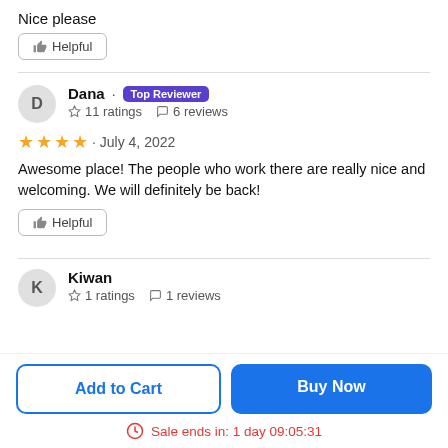August 14, 2022
Nice please
Helpful
Dana · Top Reviewer
☆ 11 ratings  ☐ 6 reviews
★★★★ · July 4, 2022
Awesome place! The people who work there are really nice and welcoming. We will definitely be back!
Helpful
Kiwan
☆ 1 ratings  ☐ 1 reviews
Add to Cart
Buy Now
Sale ends in: 1 day 09:05:31